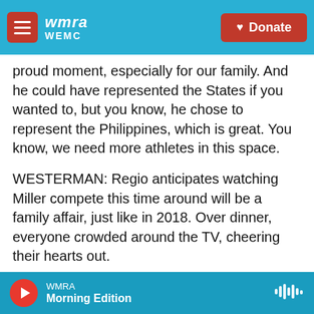WMRA WEMC | Donate
proud moment, especially for our family. And he could have represented the States if you wanted to, but you know, he chose to represent the Philippines, which is great. You know, we need more athletes in this space.
WESTERMAN: Regio anticipates watching Miller compete this time around will be a family affair, just like in 2018. Over dinner, everyone crowded around the TV, cheering their hearts out.
For NPR News, I'm Ashley Westerman in Manila.
(SOUNDBITE OF GABY HERNANDEZ SONG, "I WILL
WMRA Morning Edition